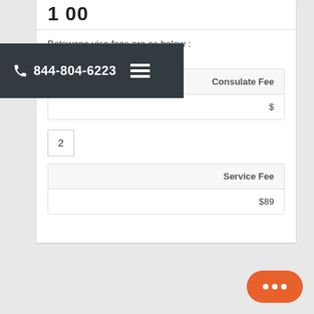Botswana visa fees are as below :
| Consulate Fee |
| --- |
| $ |
| Service Fee |
| --- |
| $89 |